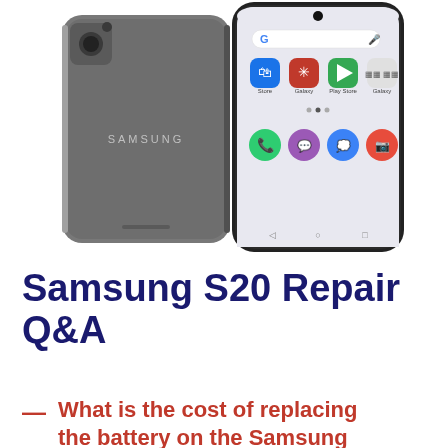[Figure (photo): Two Samsung S20 smartphones side by side — the left shows the back (dark gray with Samsung logo), the right shows the front screen with Android home screen icons including Google search bar and app icons.]
Samsung S20 Repair Q&A
What is the cost of replacing the battery on the Samsung Galaxy S20?